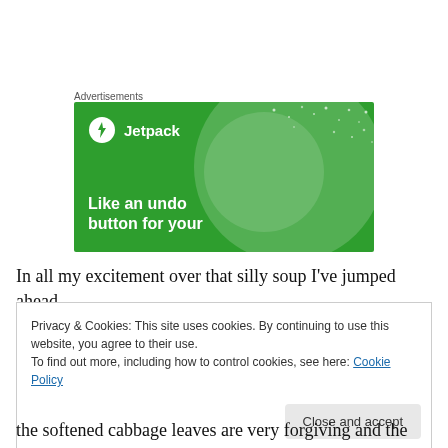Advertisements
[Figure (other): Jetpack advertisement banner with green background, circular design elements, Jetpack logo with lightning bolt icon, and text 'Like an undo button for your']
In all my excitement over that silly soup I've jumped ahead
Privacy & Cookies: This site uses cookies. By continuing to use this website, you agree to their use.
To find out more, including how to control cookies, see here: Cookie Policy
Close and accept
the softened cabbage leaves are very forgiving and the